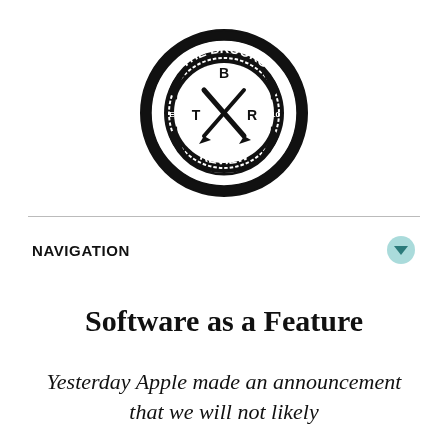[Figure (logo): The Brooks Review circular logo badge in black and white. Features a circular design with text 'THE BROOKS' at the top and 'REVIEW' at the bottom, 'EST 2010' on either side, 'B' at the top center, 'T' on left, 'R' on right, and crossed pen/pencil tools in the center.]
NAVIGATION
Software as a Feature
Yesterday Apple made an announcement that we will not likely